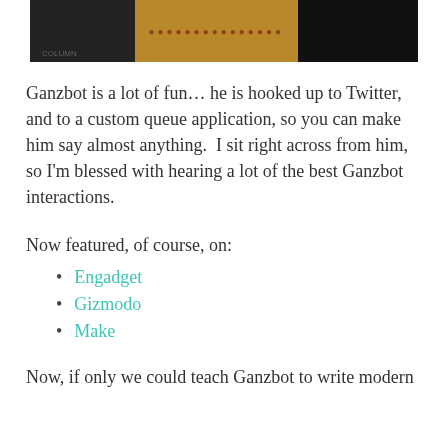[Figure (photo): Dark photograph with a yellow/amber section in the center containing text that reads like a website or logo name, partially visible]
Ganzbot is a lot of fun… he is hooked up to Twitter, and to a custom queue application, so you can make him say almost anything.  I sit right across from him, so I'm blessed with hearing a lot of the best Ganzbot interactions.
Now featured, of course, on:
Engadget
Gizmodo
Make
Now, if only we could teach Ganzbot to write modern